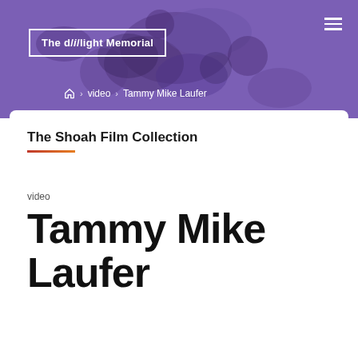The d/i/light Memorial
Home > video > Tammy Mike Laufer
The Shoah Film Collection
video
Tammy Mike Laufer